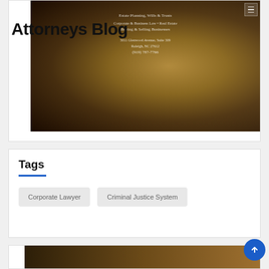Attorneys Blog
[Figure (photo): Hero banner image showing a gold/bronze coin close-up with text overlay: Estate Planning, Wills & Trusts; Corporate & Business Law • Real Estate; Buying & Selling Businesses; 5011 Glenwood Avenue, Suite 309; Raleigh, NC 27612; (919) 787-7766]
Tags
Corporate Lawyer
Criminal Justice System
[Figure (photo): Partial view of another blog entry hero image at the bottom of the page]